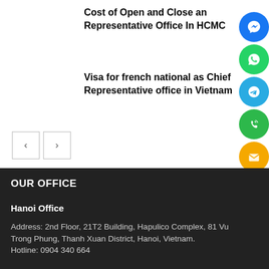Cost of Open and Close an Representative Office In HCMC
Visa for french national as Chief Representative office in Vietnam
OUR OFFICE
Hanoi Office
Address: 2nd Floor, 21T2 Building, Hapulico Complex, 81 Vu Trong Phung, Thanh Xuan District, Hanoi, Vietnam.
Hotline: 0904 340 664